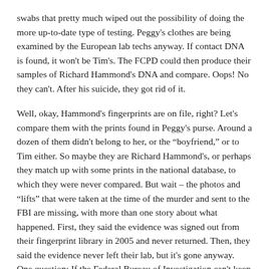swabs that pretty much wiped out the possibility of doing the more up-to-date type of testing. Peggy's clothes are being examined by the European lab techs anyway. If contact DNA is found, it won't be Tim's. The FCPD could then produce their samples of Richard Hammond's DNA and compare. Oops! No they can't. After his suicide, they got rid of it.
Well, okay, Hammond's fingerprints are on file, right? Let's compare them with the prints found in Peggy's purse. Around a dozen of them didn't belong to her, or the "boyfriend," or to Tim either. So maybe they are Richard Hammond's, or perhaps they match up with some prints in the national database, to which they were never compared. But wait – the photos and "lifts" that were taken at the time of the murder and sent to the FBI are missing, with more than one story about what happened. First, they said the evidence was signed out from their fingerprint library in 2005 and never returned. Then, they said the evidence never left their lab, but it's gone anyway. One question: If the Federal Bureau of Investigation can't keep track of legal evidence entrusted to their care, then WTF???
When Peggy was found, what appeared to be a partial pubic hair